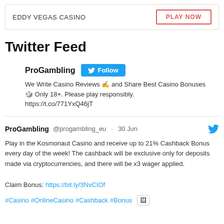EDDY VEGAS CASINO | PLAY NOW
Twitter Feed
ProGambling Follow
We Write Casino Reviews ✍ and Share Best Casino Bonuses 🎲 Only 18+. Please play responsibly.
https://t.co/771YxQ46jT
ProGambling @progambling_eu · 30 Jun
Play in the Kosmonaut Casino and receive up to 21% Cashback Bonus every day of the week! The cashback will be exclusive only for deposits made via cryptocurrencies, and there will be x3 wager applied.

Claim Bonus: https://bit.ly/3NvCIOf

#Casino #OnlineCasino #Cashback #Bonus